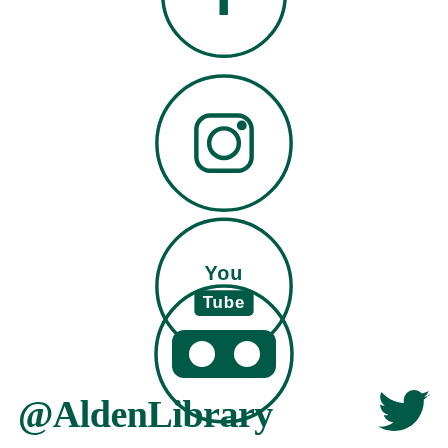[Figure (illustration): Four social media icons arranged vertically: Instagram, YouTube, and Flickr circles with dark green outlines and logos on white background. A partially visible Facebook circle at the very top.]
@AldenLibrary
[Figure (illustration): Twitter bird icon in dark green at bottom right corner]